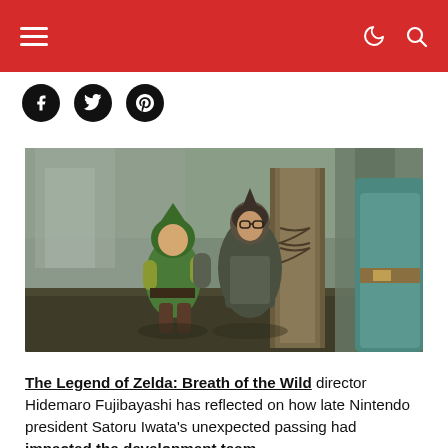Navigation bar with hamburger menu, moon icon, and search icon
[Figure (other): Social sharing icons: Facebook, Twitter, Pinterest (dark circular buttons)]
[Figure (screenshot): Screenshot from The Legend of Zelda: Breath of the Wild showing Link and other characters in a dungeon/castle interior scene]
The Legend of Zelda: Breath of the Wild director Hidemaro Fujibayashi has reflected on how late Nintendo president Satoru Iwata's unexpected passing had impacted the development team.